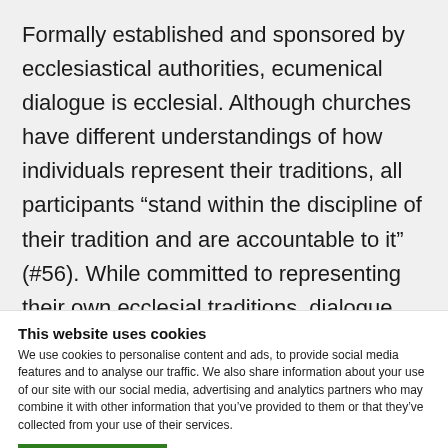Formally established and sponsored by ecclesiastical authorities, ecumenical dialogue is ecclesial. Although churches have different understandings of how individuals represent their traditions, all participants “stand within the discipline of their tradition and are accountable to it” (#56). While committed to representing their own ecclesial traditions, dialogue members are also
This website uses cookies
We use cookies to personalise content and ads, to provide social media features and to analyse our traffic. We also share information about your use of our site with our social media, advertising and analytics partners who may combine it with other information that you’ve provided to them or that they’ve collected from your use of their services.
Allow all cookies
Show details